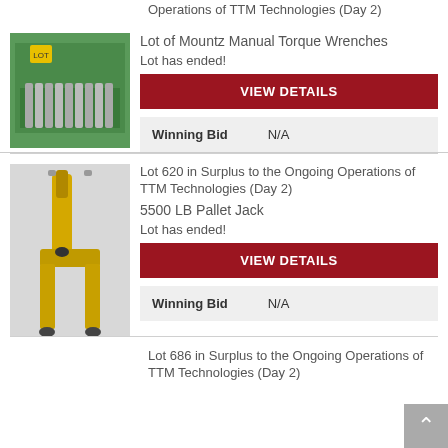Operations of TTM Technologies (Day 2)
[Figure (photo): Green bin containing Mountz manual torque wrenches]
Lot of Mountz Manual Torque Wrenches
Lot has ended!
VIEW DETAILS
Winning Bid   N/A
Lot 620 in Surplus to the Ongoing Operations of TTM Technologies (Day 2)
[Figure (photo): Yellow 5500 LB pallet jack on a concrete floor]
5500 LB Pallet Jack
Lot has ended!
VIEW DETAILS
Winning Bid   N/A
Lot 686 in Surplus to the Ongoing Operations of TTM Technologies (Day 2)